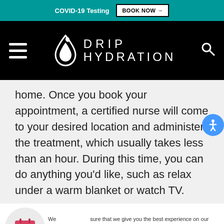COVID-19 Testing  BOOK NOW →
[Figure (logo): Drip Hydration logo with drop icon and brand name on black navigation bar]
home. Once you book your appointment, a certified nurse will come to your desired location and administer the treatment, which usually takes less than an hour. During this time, you can do anything you'd like, such as relax under a warm blanket or watch TV.
We use cookies to ensure that we give you the best experience on our website. For more information, visit our Privacy Policy.   Cookie settings
ACCEPT